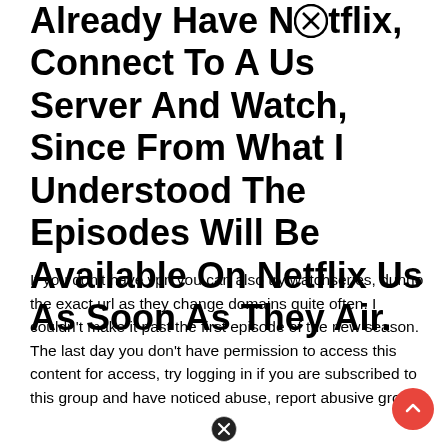Already Have Netflix, Connect To A Us Server And Watch, Since From What I Understood The Episodes Will Be Available On Netflix Us As Soon As They Air.
If you don't have vpn you can also try watchseries, dunno the exact url as they change domains quite often. I couldn't make it past the first episode of the new season. The last day you don't have permission to access this content for access, try logging in if you are subscribed to this group and have noticed abuse, report abusive group.